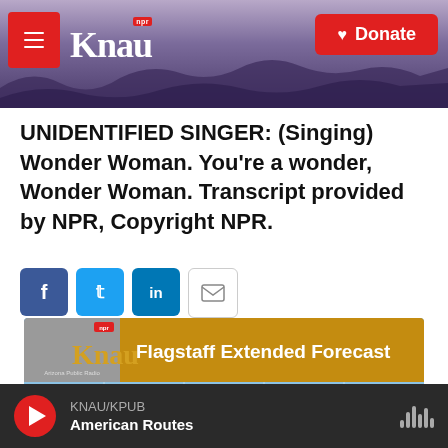KNAU NPR - Donate
UNIDENTIFIED SINGER: (Singing) Wonder Woman. You're a wonder, Wonder Woman. Transcript provided by NPR, Copyright NPR.
[Figure (screenshot): Social sharing buttons: Facebook (blue), Twitter (blue), LinkedIn (blue), Email (white/outlined)]
[Figure (screenshot): KNAU Flagstaff Extended Forecast weather widget showing days: Mon, Tue, Wed, Thu, Fri]
KNAU/KPUB - American Routes (audio player bar)